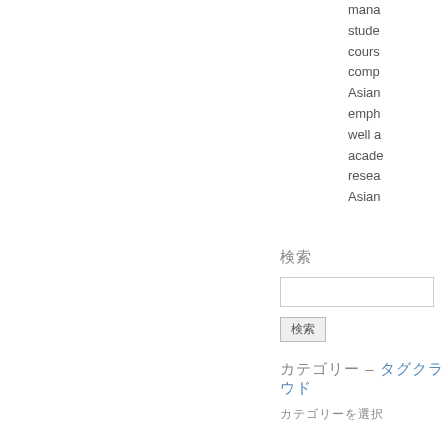mana
stude
cours
comp
Asian
emph
well a
acade
resea
Asian
検索
[Figure (other): Search input box and button UI element]
カテゴリー – タグクラウド
カテゴリーを選択